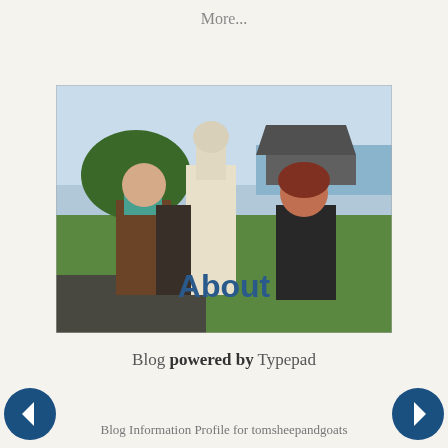More...
[Figure (photo): Two people standing with a llama outdoors near water with trees and a covered structure in the background]
About
Blog powered by Typepad
Blog Information Profile for tomsheepandgoats